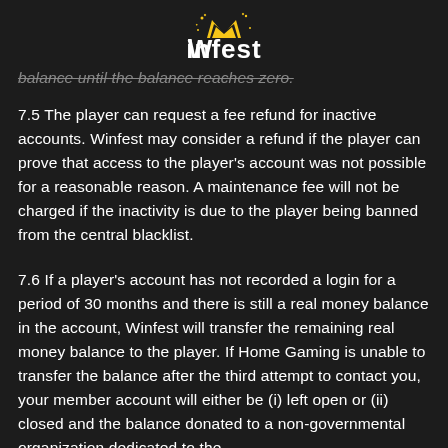[Figure (logo): Winfest logo with yellow crown/W icon and white 'Winfest' text on dark background]
balance until the balance reaches zero.
7.5 The player can request a fee refund for inactive accounts. Winfest may consider a refund if the player can prove that access to the player's account was not possible for a reasonable reason. A maintenance fee will not be charged if the inactivity is due to the player being banned from the central blacklist.
7.6 If a player's account has not recorded a login for a period of 30 months and there is still a real money balance in the account, Winfest will transfer the remaining real money balance to the player. If Home Gaming is unable to transfer the balance after the third attempt to contact you, your member account will either be (i) left open or (ii) closed and the balance donated to a non-governmental organization dedicated to the